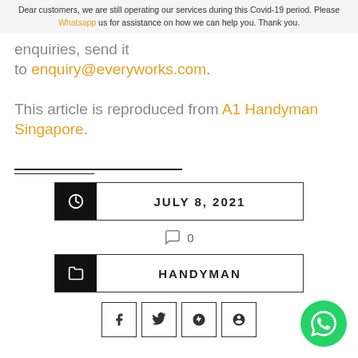Dear customers, we are still operating our services during this Covid-19 period. Please Whatsapp us for assistance on how we can help you. Thank you.
enquiries, send it to enquiry@everyworks.com.
This article is reproduced from A1 Handyman Singapore.
JULY 8, 2021
0
HANDYMAN